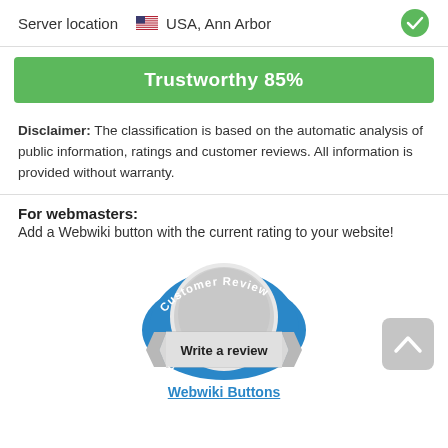| Server location | USA, Ann Arbor |  |
| --- | --- | --- |
Trustworthy 85%
Disclaimer: The classification is based on the automatic analysis of public information, ratings and customer reviews. All information is provided without warranty.
For webmasters:
Add a Webwiki button with the current rating to your website!
[Figure (logo): Webwiki Customer Review badge with 'Write a review' banner and webwiki.com text]
Webwiki Buttons